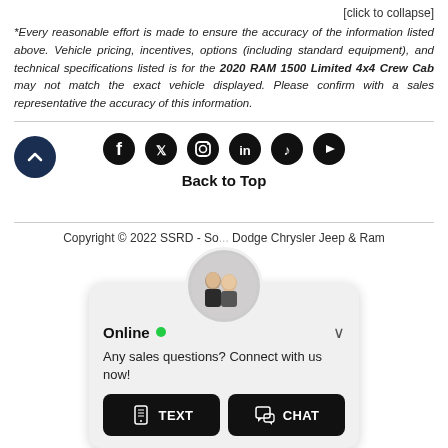[click to collapse]
*Every reasonable effort is made to ensure the accuracy of the information listed above. Vehicle pricing, incentives, options (including standard equipment), and technical specifications listed is for the 2020 RAM 1500 Limited 4x4 Crew Cab may not match the exact vehicle displayed. Please confirm with a sales representative the accuracy of this information.
[Figure (infographic): Social media icons row: Facebook, Twitter, Instagram, LinkedIn, TikTok, YouTube. Below: Back to Top label with dark blue circular up-arrow button on left.]
Copyright © 2022 SSRD - So... Dodge Chrysler Jeep & Ram
[Figure (screenshot): Online chat widget with avatar photo of two people, Online status with green dot, message 'Any sales questions? Connect with us now!', TEXT and CHAT buttons.]